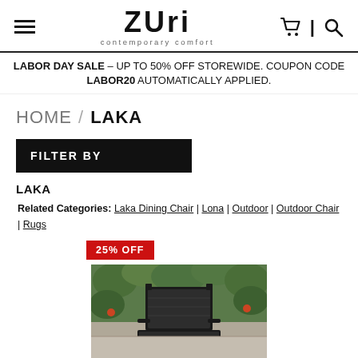Zuri contemporary comfort [logo] [hamburger menu] [cart] [search]
LABOR DAY SALE – UP TO 50% OFF STOREWIDE. COUPON CODE LABOR20 AUTOMATICALLY APPLIED.
HOME / LAKA
FILTER BY
LAKA
Related Categories: Laka Dining Chair | Lona | Outdoor | Outdoor Chair | Rugs
25% OFF
[Figure (photo): Product photo of a black outdoor dining chair with mesh back, set against a green plant wall background]